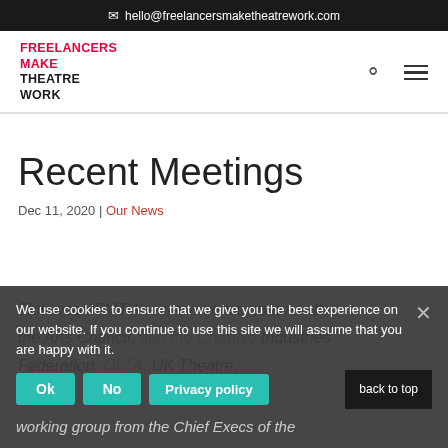✉ hello@freelancersmaketheatrework.com
[Figure (logo): Freelancers Make Theatre Work logo in red and black bold text]
Recent Meetings
Dec 11, 2020 | Our News
This week FMTW were in conversation with the Arts Council, and the Creative Industries Federation,OLTA, UK Theatre, back to top working group from the Chief Execs of the
We use cookies to ensure that we give you the best experience on our website. If you continue to use this site we will assume that you are happy with it.